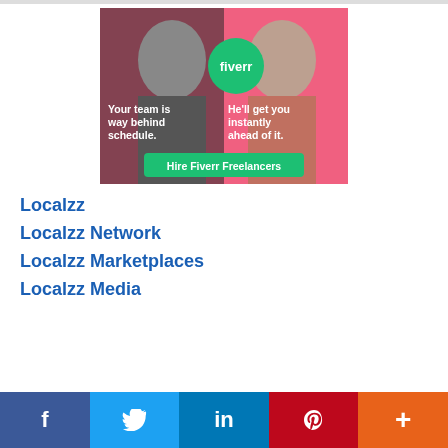[Figure (advertisement): Fiverr advertisement showing two people on pink background with text 'Your team is way behind schedule. He'll get you instantly ahead of it.' and a green 'Hire Fiverr Freelancers' button and green Fiverr logo circle]
Localzz
Localzz Network
Localzz Marketplaces
Localzz Media
f  Twitter  in  Pinterest  +